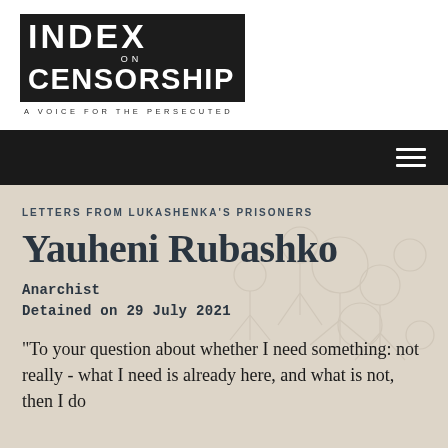[Figure (logo): Index on Censorship logo — bold black brushstroke background with white text reading INDEX ON CENSORSHIP, A VOICE FOR THE PERSECUTED]
[Figure (other): Black navigation bar with white hamburger menu icon on the right]
LETTERS FROM LUKASHENKA'S PRISONERS
Yauheni Rubashko
Anarchist
Detained on 29 July 2021
"To your question about whether I need something: not really - what I need is already here, and what is not, then I do